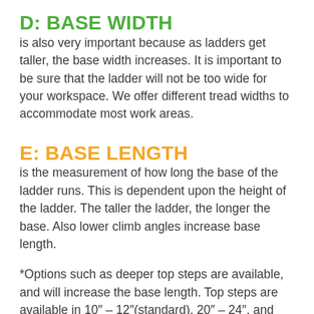D: BASE WIDTH
is also very important because as ladders get taller, the base width increases. It is important to be sure that the ladder will not be too wide for your workspace. We offer different tread widths to accommodate most work areas.
E: BASE LENGTH
is the measurement of how long the base of the ladder runs. This is dependent upon the height of the ladder. The taller the ladder, the longer the base. Also lower climb angles increase base length.
*Options such as deeper top steps are available, and will increase the base length. Top steps are available in 10″ – 12″(standard), 20″ – 24″, and 30″.